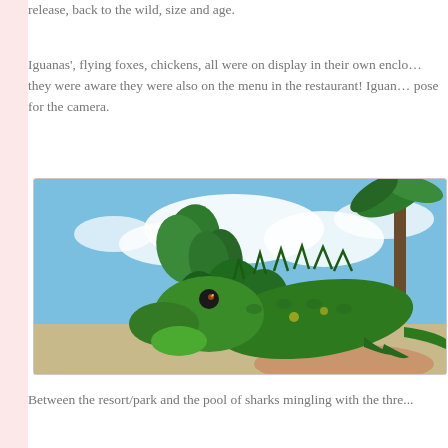release, back to the wild, size and age.
Iguanas', flying foxes, chickens, all were on display in their own enclosures – though they were aware they were also on the menu in the restaurant! Iguanas would happily pose for the camera.
[Figure (photo): A green iguana perched on a person's hand, with tropical palm trees, blue sky with white clouds, and resort buildings in the background.]
Between the resort/park and the pool of sharks mingling with the thr...